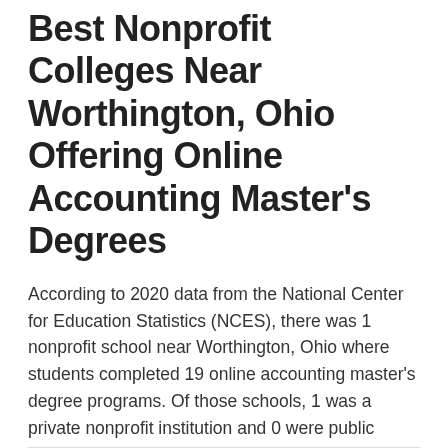Best Nonprofit Colleges Near Worthington, Ohio Offering Online Accounting Master's Degrees
According to 2020 data from the National Center for Education Statistics (NCES), there was 1 nonprofit school near Worthington, Ohio where students completed 19 online accounting master's degree programs. Of those schools, 1 was a private nonprofit institution and 0 were public schools. Browse through the listing below to learn more about each of the nonprofit colleges near Worthington offering online accounting master's programs. Tuition shown reflects in-state rates.